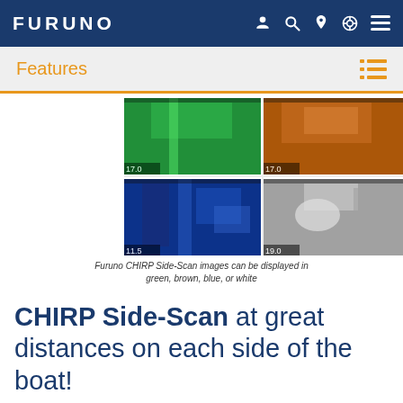FURUNO
Features
[Figure (screenshot): Furuno CHIRP Side-Scan sonar images shown in four panels: top-left green color scheme showing 17.0, top-right brown/orange color scheme showing 17.0, bottom-left blue color scheme showing 11.5, bottom-right grayscale/white color scheme showing 19.0. Each panel displays underwater side-scan imagery with depth readings.]
Furuno CHIRP Side-Scan images can be displayed in green, brown, blue, or white
CHIRP Side-Scan at great distances on each side of the boat!